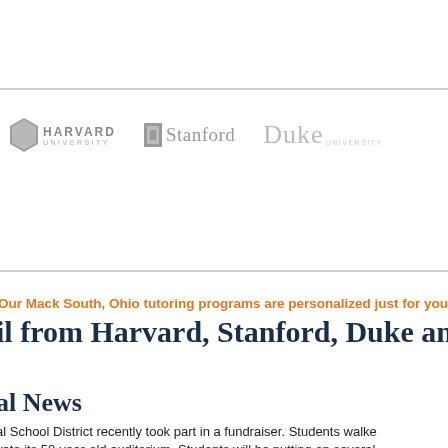[Figure (logo): Harvard University, Stanford, and Duke university logos displayed in gray]
Our Mack South, Ohio tutoring programs are personalized just for you
il from Harvard, Stanford, Duke and oth
al News
al School District recently took part in a fundraiser. Students walke
vate its 50-year-old auditorium. Students will be putting on several